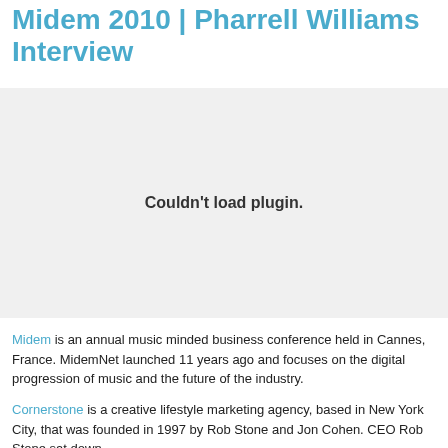Midem 2010 | Pharrell Williams Interview
[Figure (other): Embedded video plugin area showing 'Couldn't load plugin.' error message]
Midem is an annual music minded business conference held in Cannes, France. MidemNet launched 11 years ago and focuses on the digital progression of music and the future of the industry.
Cornerstone is a creative lifestyle marketing agency, based in New York City, that was founded in 1997 by Rob Stone and Jon Cohen. CEO Rob Stone sat down